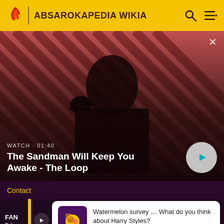ABSAROKAPEDIA WIKIA
[Figure (screenshot): Hero image for 'The Sandman Will Keep You Awake - The Loop' video with a dark-cloaked figure and a raven on a striped red/dark background, with a play button overlay and watch time 01:40]
WATCH · 01:40
The Sandman Will Keep You Awake - The Loop
Contact
FAN
Take
Watermelon survey … What do you think about Harry Styles?
TAKE THE SURVEY HERE